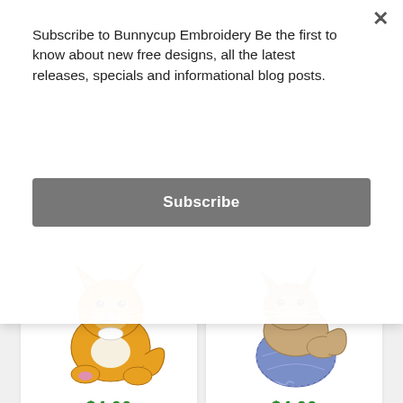Subscribe to Bunnycup Embroidery Be the first to know about new free designs, all the latest releases, specials and informational blog posts.
Subscribe
[Figure (illustration): Orange/yellow cartoon kitten embroidery design sitting and grooming]
$4.00
Add to Cart
[Figure (illustration): Brown tabby cartoon kitten embroidery design sitting on a blue ball of yarn]
$4.00
Add to Cart
Cuddly Kitten 3
Cuddly Kitten 4